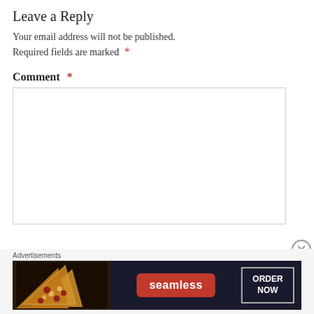Leave a Reply
Your email address will not be published.
Required fields are marked *
Comment *
[Figure (screenshot): Empty comment text area input box with a light border]
Advertisements
[Figure (screenshot): Seamless food delivery advertisement banner showing pizza and ORDER NOW button]